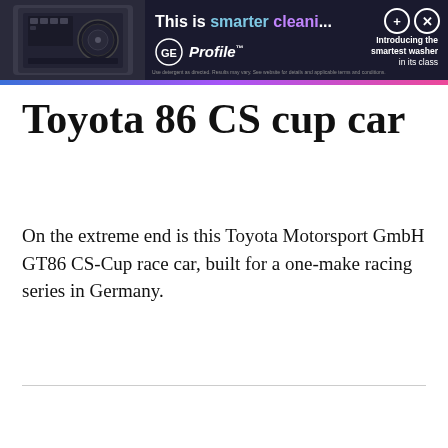[Figure (advertisement): GE Profile washer advertisement banner. Dark background with washer appliance image on left. Text reads 'This is smarter cleani...' with + and x buttons. GE Profile logo with 'Introducing the smartest washer in its class' tagline.]
Toyota 86 CS cup car
On the extreme end is this Toyota Motorsport GmbH GT86 CS-Cup race car, built for a one-make racing series in Germany.